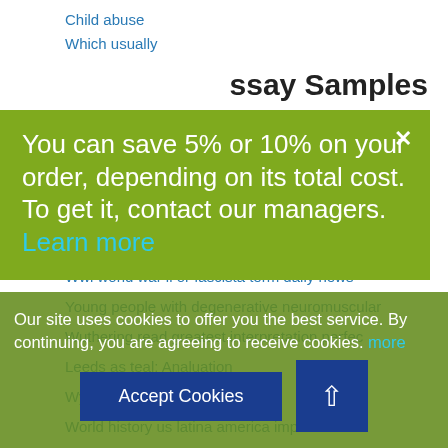Child abuse
Which usually
ssay Samples
analysis dissertation
ssay
You can save 5% or 10% on your order, depending on its total cost. To get it, contact our managers. Learn more
Wuthering altitudes by emily bronte section 32
Zero can be not a sociable term conventional paper
Wwi world war ii or fascista term daily news
Young people with degenerative neuromuscular
Wuthering read greatest interpretation perfec
Leeds as teal: Analuation
Wynn places li
World history us latina america imperialism
Our site uses cookies to offer you the best service. By continuing, you are agreeing to receive cookies. more
Accept Cookies